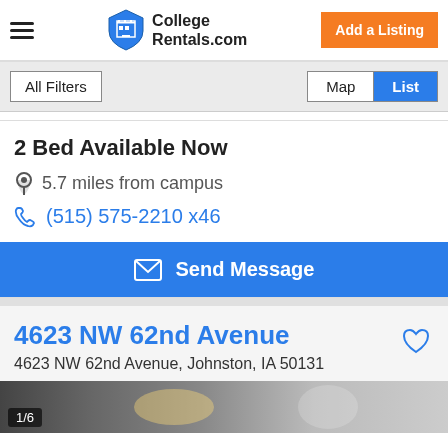College Rentals.com
All Filters | Map | List
2 Bed Available Now
5.7 miles from campus
(515) 575-2210 x46
Send Message
4623 NW 62nd Avenue
4623 NW 62nd Avenue, Johnston, IA 50131
1/6